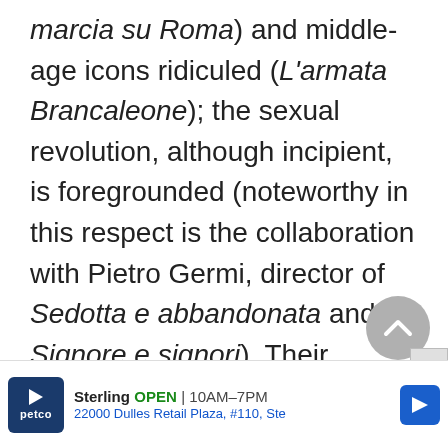marcia su Roma) and middle-age icons ridiculed (L'armata Brancaleone); the sexual revolution, although incipient, is foregrounded (noteworthy in this respect is the collaboration with Pietro Germi, director of Sedotta e abbandonata and Signore e signori). Their versatile screenwriting style facilitated the revival of the Leone-Western (Il buono, il brutto, il cattivo) and turned a par[tial line cut off] (Di[partial line cut off]
[Figure (other): Scroll-to-top circular grey button with upward chevron]
[Figure (other): Advertisement banner: Petco Sterling OPEN 10AM-7PM, 22000 Dulles Retail Plaza, #110, Ste]